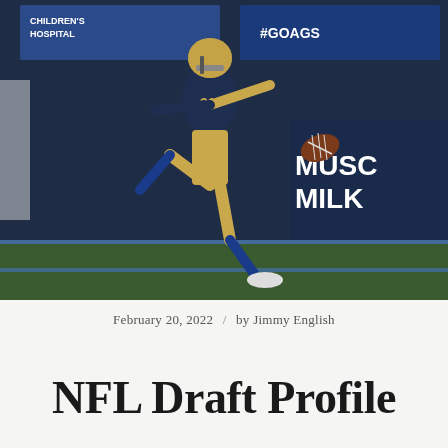[Figure (photo): Football player wearing navy and gold UC Davis uniform number 31, mid-punt kick motion on stadium field at night. Background shows banners reading 'Children's Hospital', '#GOAGS', and 'Muscle Milk'.]
February 20, 2022 / by Jimmy English
NFL Draft Profile